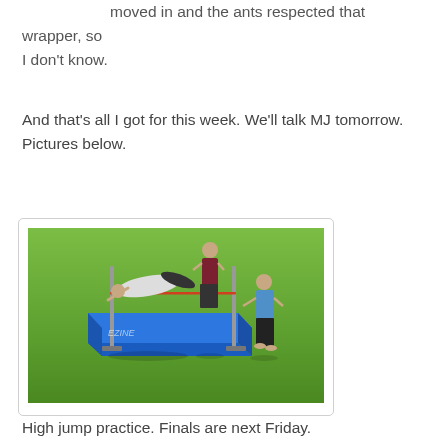moved in and the ants respected that wrapper, so I don't know.
And that's all I got for this week. We'll talk MJ tomorrow. Pictures below.
[Figure (photo): A high jump practice scene outdoors on a grass field. An athlete is mid-jump over a bar, lying back over a blue high jump mat. A person in dark clothing stands in the background watching, and another person in a light blue shirt stands to the right of the mat.]
High jump practice. Finals are next Friday.